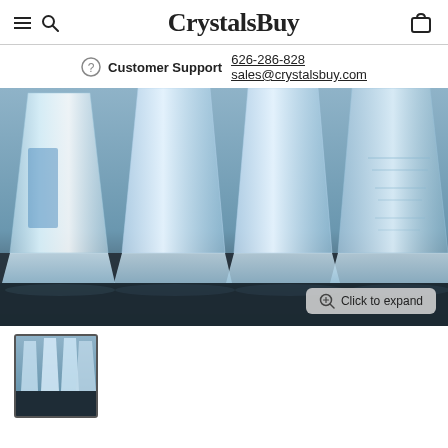CrystalsBuy
Customer Support 626-286-828 sales@crystalsbuy.com
[Figure (photo): Close-up photograph of multiple tall crystal award trophies with hexagonal bases standing on a dark surface, showing transparent crystal with some blue accents and engraved text.]
[Figure (photo): Thumbnail image of crystal award trophies, same as main product photo.]